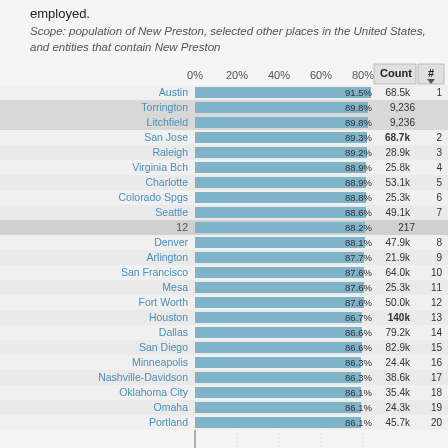employed.
Scope: population of New Preston, selected other places in the United States, and entities that contain New Preston
[Figure (bar-chart): Percentage employed by place]